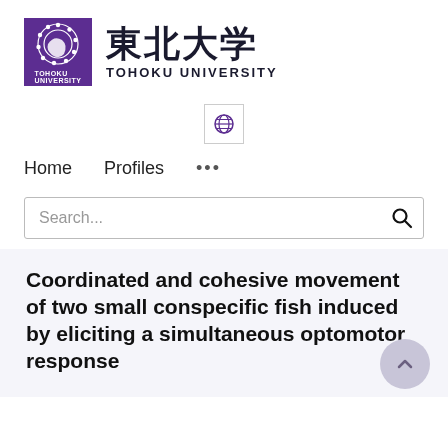[Figure (logo): Tohoku University logo: purple square with white circular design, text 'TOHOKU UNIVERSITY' in kanji and romaji]
[Figure (other): Globe/language selector icon button with border]
Home   Profiles   ...
Search...
Coordinated and cohesive movement of two small conspecific fish induced by eliciting a simultaneous optomotor response